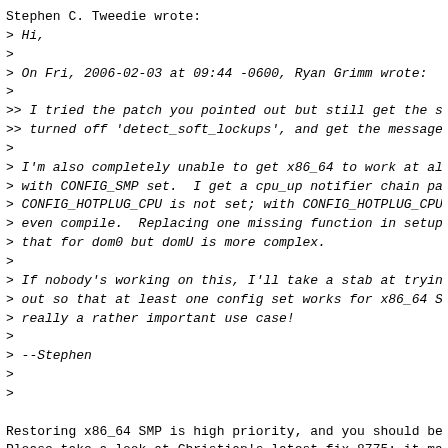Stephen C. Tweedie wrote:
> Hi,
>
> On Fri, 2006-02-03 at 09:44 -0600, Ryan Grimm wrote:
>
>> I tried the patch you pointed out but still get the same re
>> turned off 'detect_soft_lockups', and get the message below
>
> I'm also completely unable to get x86_64 to work at all from
> with CONFIG_SMP set.  I get a cpu_up notifier chain panic if
> CONFIG_HOTPLUG_CPU is not set; with CONFIG_HOTPLUG_CPU=y, it
> even compile.  Replacing one missing function in setup64-xen
> that for dom0 but domU is more complex.
>
> If nobody's working on this, I'll take a stab at trying to s
> out so that at least one config set works for x86_64 SMP.  I
> really a rather important use case!
>
> --Stephen
>
>

Restoring x86_64 SMP is high priority, and you should be very
Please take a look at Christian's latest fix 8775; it may have
that. I'm working on other things now.